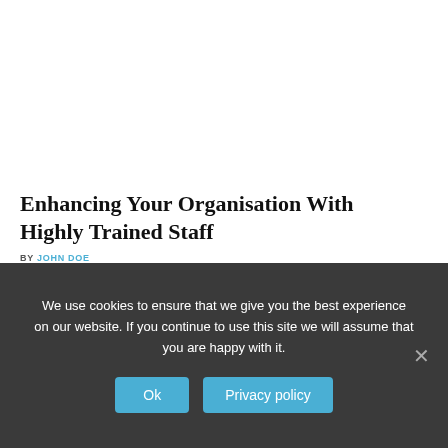Enhancing Your Organisation With Highly Trained Staff
BY JOHN DOE
We use cookies to ensure that we give you the best experience on our website. If you continue to use this site we will assume that you are happy with it.